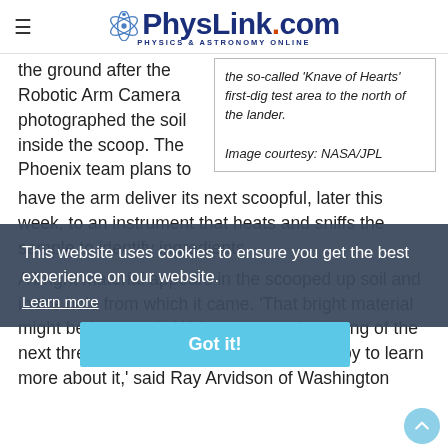PhysLink.com — Physics & Astronomy Online
the ground after the Robotic Arm Camera photographed the soil inside the scoop. The Phoenix team plans to
the so-called 'Knave of Hearts' first-dig test area to the north of the lander.

Image courtesy: NASA/JPL
have the arm deliver its next scoopful, later this week, to an instrument that heats and sniffs the sample to identify ingredients.
A bright material appears in the scooped up soil and in the hole from which it came. 'That bright material might be ice or salt. We're eager to do testing of the next three surface samples collected nearby to learn more about it,' said Ray Arvidson of Washington
This website uses cookies to ensure you get the best experience on our website.
Learn more
Got it!